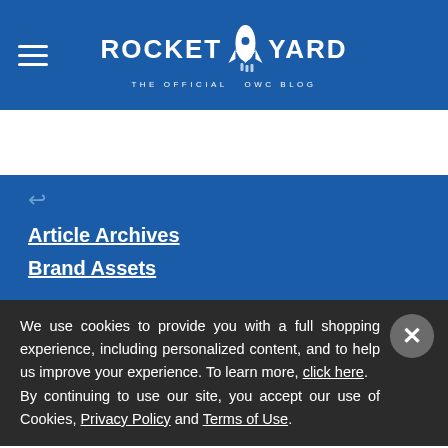Rocket Yard — The Official OWC Blog
Article Archives
Brand Assets
We use cookies to provide you with a full shopping experience, including personalized content, and to help us improve your experience. To learn more, click here.
By continuing to use our site, you accept our use of Cookies, Privacy Policy and Terms of Use.